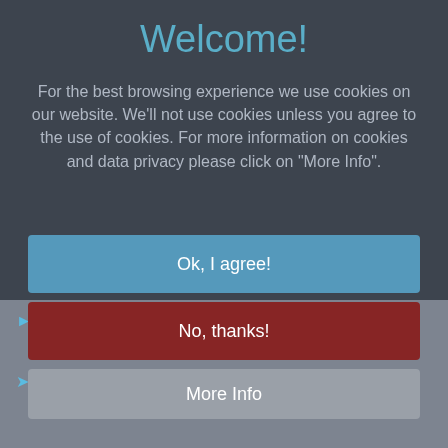Welcome!
For the best browsing experience we use cookies on our website. We'll not use cookies unless you agree to the use of cookies. For more information on cookies and data privacy please click on "More Info".
Ok, I agree!
No, thanks!
More Info
Sanibel, Captiva, Bonita Springs & Naples
Ft. Myers (RSW), Miami Intl. (MIA), Tampa Intl. (TPA)